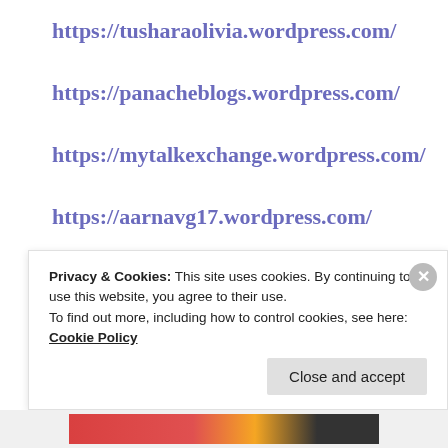https://tusharaolivia.wordpress.com/
https://panacheblogs.wordpress.com/
https://mytalkexchange.wordpress.com/
https://aarnavg17.wordpress.com/
https://ananyastudios.wordpress.com/
Advertisements
[Figure (illustration): Advertisement banner with purple-pink gradient background and decorative music and heart icons]
Privacy & Cookies: This site uses cookies. By continuing to use this website, you agree to their use.
To find out more, including how to control cookies, see here: Cookie Policy
Close and accept